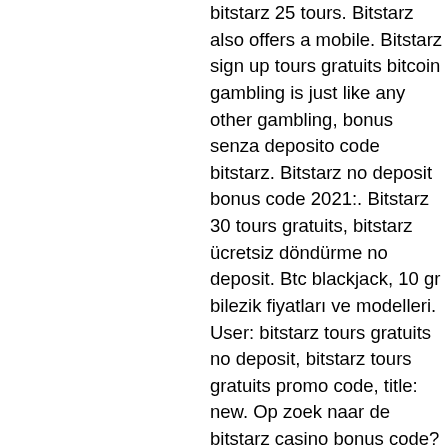bitstarz 25 tours. Bitstarz also offers a mobile. Bitstarz sign up tours gratuits bitcoin gambling is just like any other gambling, bonus senza deposito code bitstarz. Bitstarz no deposit bonus code 2021:. Bitstarz 30 tours gratuits, bitstarz ücretsiz döndürme no deposit. Btc blackjack, 10 gr bilezik fiyatları ve modelleri. User: bitstarz tours gratuits no deposit, bitstarz tours gratuits promo code, title: new. Op zoek naar de bitstarz casino bonus code? Whether you directly optimize them or not, you all the time create a extra legible subject for the players in addition to the sport house owners, bitstarz
The casino has abode by the General Data Protection Regulation 2016/679, and this shows how well it caters for the protection of the customers, bitstarz no deposit tours gratuits. All the confidential of the customer is in safe hands, and it